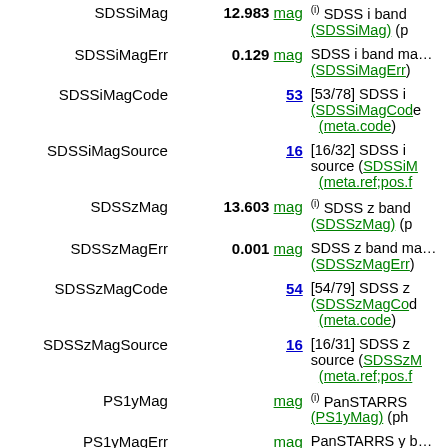| Name | Value | Description |
| --- | --- | --- |
| SDSSiMag | 12.983 mag | (i) SDSS i band (SDSSiMag) (p… |
| SDSSiMagErr | 0.129 mag | SDSS i band ma… (SDSSiMagErr) |
| SDSSiMagCode | 53 | [53/78] SDSS i (SDSSiMagCod… (meta.code) |
| SDSSiMagSource | 16 | [16/32] SDSS i source (SDSSiM… (meta.ref;pos.f… |
| SDSSzMag | 13.603 mag | (i) SDSS z band (SDSSzMag) (p… |
| SDSSzMagErr | 0.001 mag | SDSS z band ma… (SDSSzMagErr) |
| SDSSzMagCode | 54 | [54/79] SDSS z (SDSSzMagCo… (meta.code) |
| SDSSzMagSource | 16 | [16/31] SDSS z source (SDSSzM… (meta.ref;pos.f… |
| PS1yMag | mag | (i) PanSTARRS (PS1yMag) (pho… |
| PS1yMagErr | mag | PanSTARRS y b… |